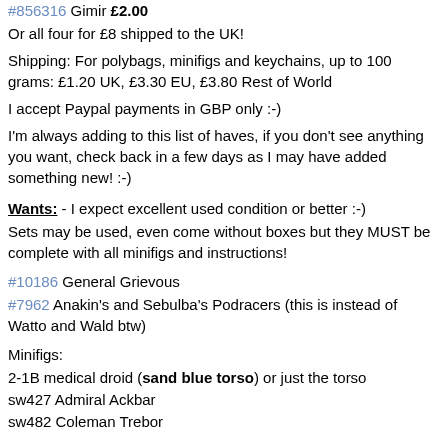#856316 Gimir £2.00
Or all four for £8 shipped to the UK!
Shipping: For polybags, minifigs and keychains, up to 100 grams: £1.20 UK, £3.30 EU, £3.80 Rest of World
I accept Paypal payments in GBP only :-)
I'm always adding to this list of haves, if you don't see anything you want, check back in a few days as I may have added something new! :-)
Wants: - I expect excellent used condition or better :-)
Sets may be used, even come without boxes but they MUST be complete with all minifigs and instructions!
#10186 General Grievous
#7962 Anakin's and Sebulba's Podracers (this is instead of Watto and Wald btw)
Minifigs:
2-1B medical droid (sand blue torso) or just the torso
sw427 Admiral Ackbar
sw482 Coleman Trebor